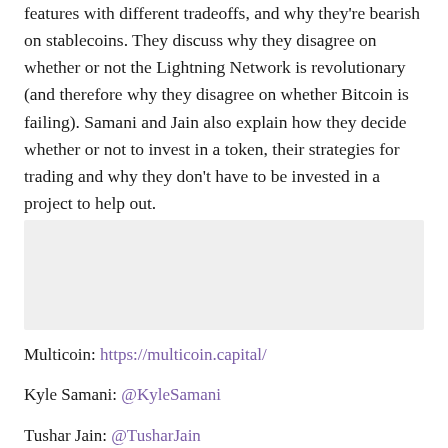features with different tradeoffs, and why they're bearish on stablecoins. They discuss why they disagree on whether or not the Lightning Network is revolutionary (and therefore why they disagree on whether Bitcoin is failing). Samani and Jain also explain how they decide whether or not to invest in a token, their strategies for trading and why they don't have to be invested in a project to help out.
[Figure (other): Gray placeholder/advertisement box]
Multicoin: https://multicoin.capital/
Kyle Samani: @KyleSamani
Tushar Jain: @TusharJain